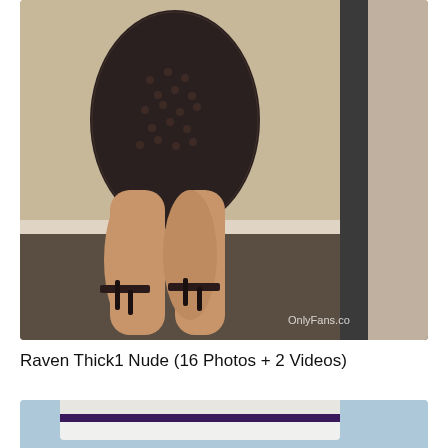[Figure (photo): A person wearing a black fishnet/mesh form-fitting mini dress and black strappy high-heel sandals, photographed from behind in a room with beige walls and dark flooring. A large mirror frame is visible on the right side. A watermark reads 'OnlyFans.co' in the bottom right corner.]
Raven Thick1 Nude (16 Photos + 2 Videos)
[Figure (photo): Partial image of someone wearing a white and dark-striped visor hat, with a light blue sky background. Only the top portion of the image is visible.]